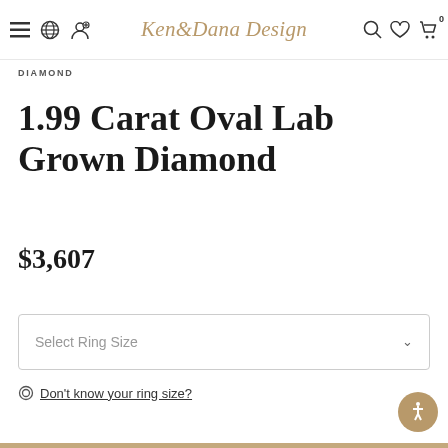Ken & Dana Design — navigation header with menu, account, search, wishlist, cart icons
DIAMOND
1.99 Carat Oval Lab Grown Diamond
$3,607
Select Ring Size
Don't know your ring size?